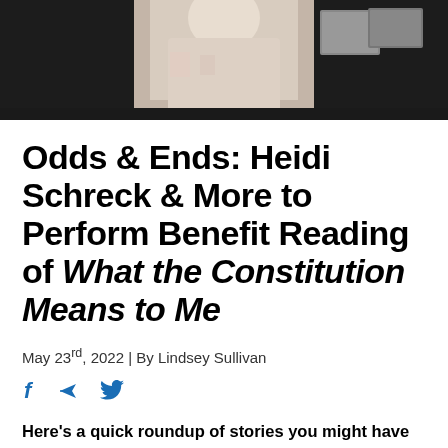[Figure (photo): A person in a light floral garment photographed against a dark background, with framed pictures visible on the wall behind them. Only the torso is visible.]
Odds & Ends: Heidi Schreck & More to Perform Benefit Reading of What the Constitution Means to Me
May 23rd, 2022 | By Lindsey Sullivan
[Figure (infographic): Social media share icons: Facebook (f), send/paper-plane, and Twitter bird icons in blue.]
Here's a quick roundup of stories you might have